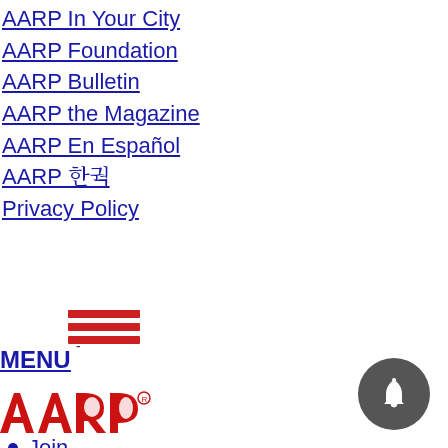AARP In Your City
AARP Foundation
AARP Bulletin
AARP the Magazine
AARP En Español
AARP 한국어
Privacy Policy
[Figure (illustration): Hamburger menu icon with three horizontal red lines and a dash below]
MENU
[Figure (logo): AARP logo in red with registered trademark symbol]
Join
Renew
Membership & Benefits
What We Do